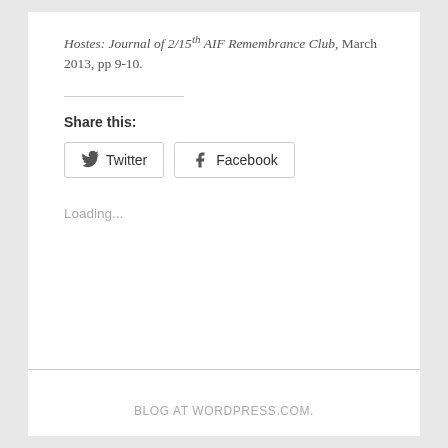Hostes: Journal of 2/15th AIF Remembrance Club, March 2013, pp 9-10.
Share this:
Twitter  Facebook
Loading...
BLOG AT WORDPRESS.COM.